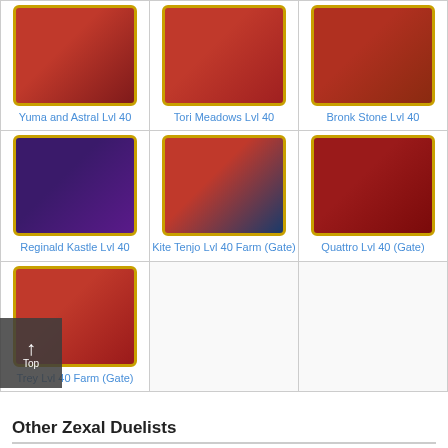[Figure (illustration): Yuma and Astral character portrait with gold border on red background]
Yuma and Astral Lvl 40
[Figure (illustration): Tori Meadows character portrait with gold border on red background]
Tori Meadows Lvl 40
[Figure (illustration): Bronk Stone character portrait with gold border on red background]
Bronk Stone Lvl 40
[Figure (illustration): Reginald Kastle character portrait with gold border on purple background]
Reginald Kastle Lvl 40
[Figure (illustration): Kite Tenjo character portrait with gold border on red/blue background]
Kite Tenjo Lvl 40 Farm (Gate)
[Figure (illustration): Quattro character portrait with gold border on red background]
Quattro Lvl 40 (Gate)
[Figure (illustration): Trey character portrait with gold border on red background]
Trey Lvl 40 Farm (Gate)
Other Zexal Duelists